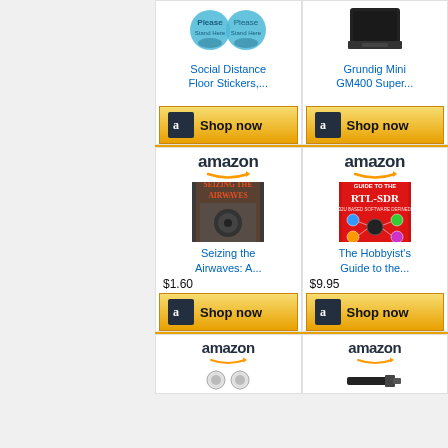[Figure (screenshot): Amazon shopping widget showing product listings in a two-column grid layout. Top row shows partial product images for Social Distance Floor Stickers and Grundig Mini GM400 Super with Shop now buttons. Middle row shows Amazon-branded cards for 'Seizing the Airwaves: A...' priced at $1.60 and 'The Hobbyist's Guide to the...' priced at $9.95 with Shop now buttons. Bottom row shows partial Amazon logo cards.]